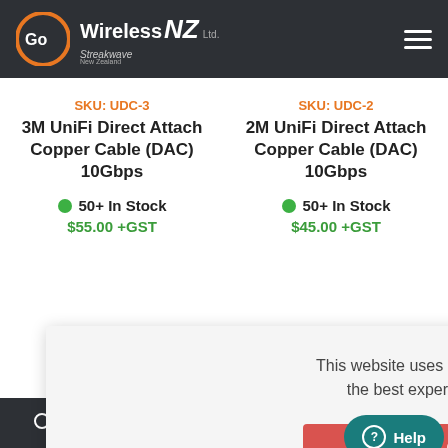Go Wireless NZ Ltd. Streakwave New Zealand
SKU: UDC-3
3M UniFi Direct Attach Copper Cable (DAC) 10Gbps
50+ In Stock
$55.00 +GST
SKU: UDC-2
2M UniFi Direct Attach Copper Cable (DAC) 10Gbps
50+ In Stock
$45.00 +GST
This website uses cookies to ensure you get the best experience on our website.
Got it!
Help
Search | Wishlist | Compare | Cart | Scroll to top